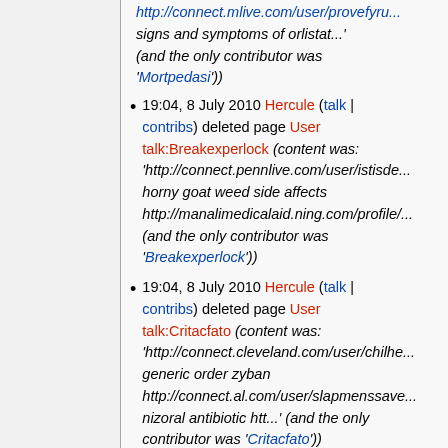http://connect.mlive.com/user/provefyrum... signs and symptoms of orlistat...' (and the only contributor was 'Mortpedasi'))
19:04, 8 July 2010 Hercule (talk | contribs) deleted page User talk:Breakexperlock (content was: 'http://connect.pennlive.com/user/istisde... horny goat weed side affects http://manalimedicalaid.ning.com/profile/... (and the only contributor was 'Breakexperlock'))
19:04, 8 July 2010 Hercule (talk | contribs) deleted page User talk:Critacfato (content was: 'http://connect.cleveland.com/user/chilhe... generic order zyban http://connect.al.com/user/slapmenssave... nizoral antibiotic htt...' (and the only contributor was 'Critacfato'))